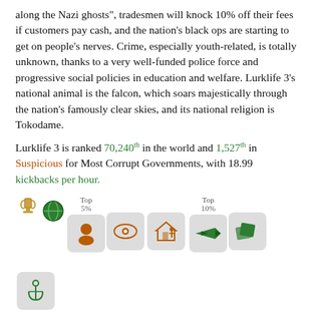along the Nazi ghosts", tradesmen will knock 10% off their fees if customers pay cash, and the nation's black ops are starting to get on people's nerves. Crime, especially youth-related, is totally unknown, thanks to a very well-funded police force and progressive social policies in education and welfare. Lurklife 3's national animal is the falcon, which soars majestically through the nation's famously clear skies, and its national religion is Tokodame.
Lurklife 3 is ranked 70,240th in the world and 1,527th in Suspicious for Most Corrupt Governments, with 18.99 kickbacks per hour.
[Figure (infographic): Row of achievement/badge icons: trophy and globe icon, Top 5% label with head icon, eye icon, house-person icon, Top 10% label with plane icon, cards icon, anchor icon, and below: umbrella icon]
National Happenings
Most Recent Government Activity: 3 days 23 hours ago